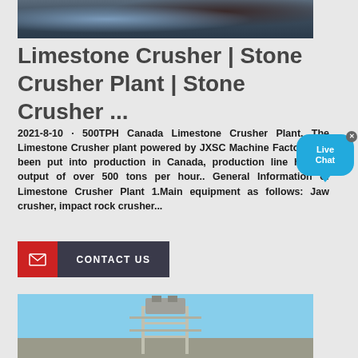[Figure (photo): Top image showing industrial equipment/machinery with cables and workers]
Limestone Crusher | Stone Crusher Plant | Stone Crusher ...
2021-8-10 · 500TPH Canada Limestone Crusher Plant. The Limestone Crusher plant powered by JXSC Machine Factory has been put into production in Canada, production line has an output of over 500 tons per hour.. General Information of Limestone Crusher Plant 1.Main equipment as follows: Jaw crusher, impact rock crusher...
[Figure (other): Live Chat bubble overlay widget]
[Figure (other): Contact Us button with red mail icon and dark background]
[Figure (photo): Bottom image showing construction scaffolding and machinery against blue sky]